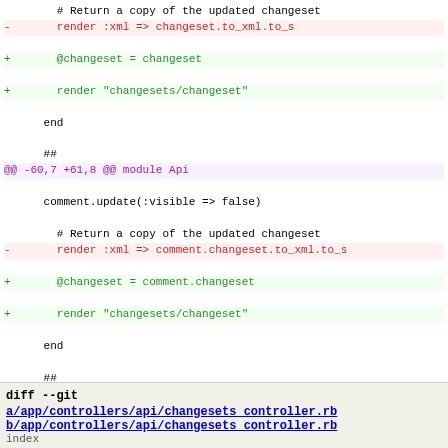Code diff showing changes to changeset rendering in Ruby on Rails controllers. Includes three hunks: one at -60,7 +61,8 and one at -79,7 +81,8, both in module Api, replacing render :xml with @changeset assignment and render template calls.
diff --git a/app/controllers/api/changesets_controller.rb b/app/controllers/api/changesets_controller.rb
index